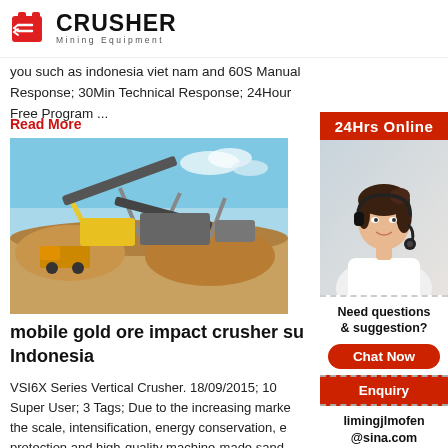[Figure (logo): Crusher Mining Equipment logo with red shopping bag icon and bold CRUSHER text]
you such as indonesia viet nam and 60S Manual Response; 30Min Technical Response; 24Hour Free Program ...
Read More
[Figure (photo): Mining crusher equipment and machinery at an outdoor site with blue sky and sand/gravel piles]
mobile gold ore impact crusher su Indonesia
VSI6X Series Vertical Crusher. 18/09/2015; 10 Super User; 3 Tags; Due to the increasing marke the scale, intensification, energy conservation, e protection and high-quality machine-made sand professional sand maker manufacturer, further d structure and function of traditional vertical-sha crushers and launches a new generation of
[Figure (other): 24Hrs Online sidebar with customer service representative photo, Need questions & suggestion? Chat Now button, Enquiry section, limingjlmofen@sina.com email]